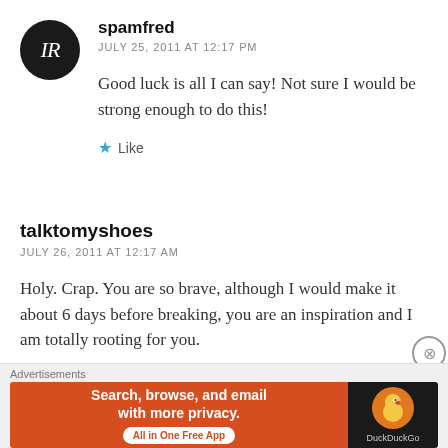spamfred
JULY 25, 2011 AT 12:17 PM
Good luck is all I can say! Not sure I would be strong enough to do this!
★ Like
talktomyshoes
JULY 26, 2011 AT 12:17 AM
Holy. Crap. You are so brave, although I would make it about 6 days before breaking, you are an inspiration and I am totally rooting for you.
[Figure (screenshot): DuckDuckGo advertisement banner: orange background with text 'Search, browse, and email with more privacy. All in One Free App' and DuckDuckGo duck logo on dark background.]
Advertisements